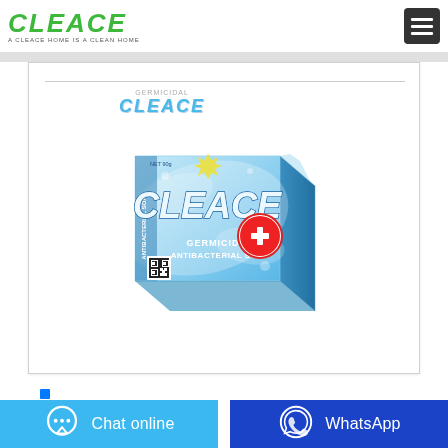[Figure (logo): CLEACE brand logo in green with tagline 'A CLEACE HOME IS A CLEAN HOME']
[Figure (photo): Product photo of Cleace Germicidal Antibacterial Soap box, blue and white packaging with CLEACE branding and a red cross/plus symbol, NET 90g]
Chat online
WhatsApp